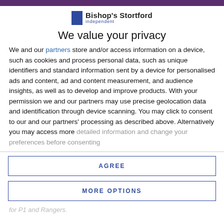[Figure (logo): Bishop's Stortford Independent logo with blue square and text]
We value your privacy
We and our partners store and/or access information on a device, such as cookies and process personal data, such as unique identifiers and standard information sent by a device for personalised ads and content, ad and content measurement, and audience insights, as well as to develop and improve products. With your permission we and our partners may use precise geolocation data and identification through device scanning. You may click to consent to our and our partners' processing as described above. Alternatively you may access more detailed information and change your preferences before consenting
AGREE
MORE OPTIONS
for P1 and Rangers.